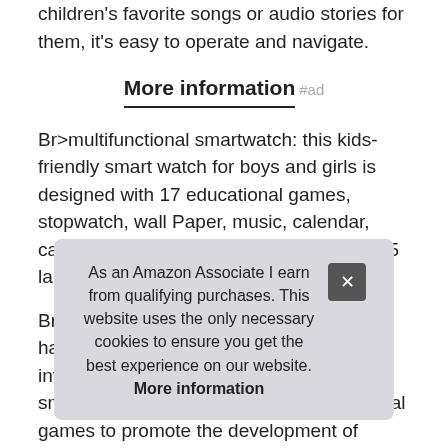children's favorite songs or audio stories for them, it's easy to operate and navigate.
More information #ad
Br>multifunctional smartwatch: this kids-friendly smart watch for boys and girls is designed with 17 educational games, stopwatch, wall Paper, music, calendar, calculator, school mode, alarms, camera, 5 languages, flashlight, timer, etc.
Br>music player: the smartwatch for kids has a wonderful music feature. Br>17 intelligent games: willowwind kid smartwatch is equipped with 17 educational games to promote the development of children's imagination, thinking and ... and ... entertaining pict... suitable and playable for children of multiple ages.
As an Amazon Associate I earn from qualifying purchases. This website uses the only necessary cookies to ensure you get the best experience on our website. More information